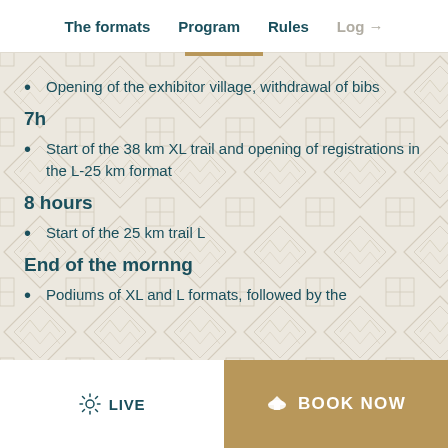The formats   Program   Rules   Log →
Opening of the exhibitor village, withdrawal of bibs
7h
Start of the 38 km XL trail and opening of registrations in the L-25 km format
8 hours
Start of the 25 km trail L
End of the mornng
Podiums of XL and L formats, followed by the
☀ LIVE   BOOK NOW